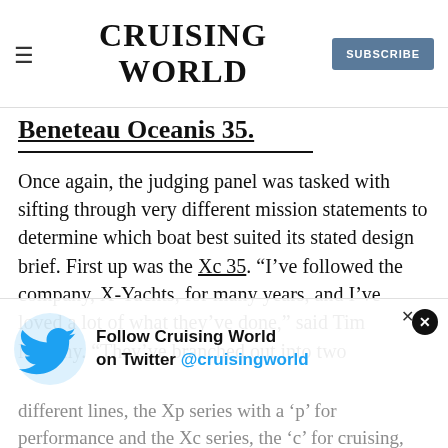CRUISING WORLD | SUBSCRIBE
Beneteau Oceanis 35.
Once again, the judging panel was tasked with sifting through very different mission statements to determine which boat best suited its stated design brief. First up was the Xc 35. “I’ve followed the company, X-Yachts, for many years, and I’ve loved a lot of what they’ve done,” said Tim Murphy. “They’ve branched out into two different lines, the Xp series with a ‘p’ for performance and the Xc series, the ‘c’ for cruising, which started in 2009…
[Figure (infographic): Twitter ad banner: Follow Cruising World on Twitter @cruisingworld, with Twitter bird logo]